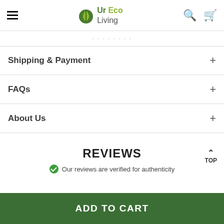Ur Eco Living
(partial text strip)
Shipping & Payment
FAQs
About Us
REVIEWS
Our reviews are verified for authenticity
ADD TO CART